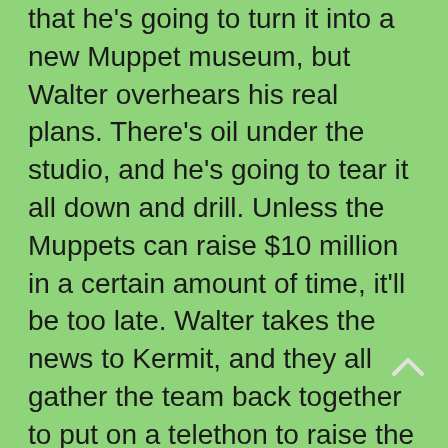that he's going to turn it into a new Muppet museum, but Walter overhears his real plans. There's oil under the studio, and he's going to tear it all down and drill. Unless the Muppets can raise $10 million in a certain amount of time, it'll be too late. Walter takes the news to Kermit, and they all gather the team back together to put on a telethon to raise the money… if Richman doesn't find a way to stop them.
There's really nothing complicated about the film at all.